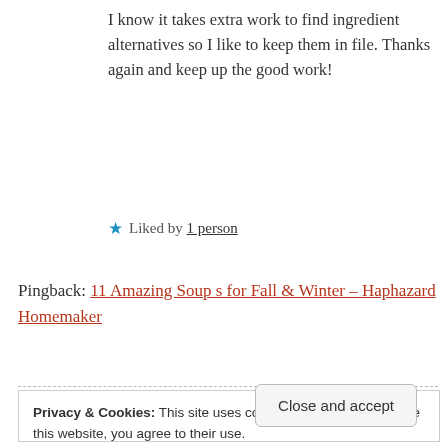I know it takes extra work to find ingredient alternatives so I like to keep them in file. Thanks again and keep up the good work!
★ Liked by 1 person
Pingback: 11 Amazing Soup s for Fall & Winter – Haphazard Homemaker
Privacy & Cookies: This site uses cookies. By continuing to use this website, you agree to their use.
To find out more, including how to control cookies, see here:
Cookie Policy
Close and accept